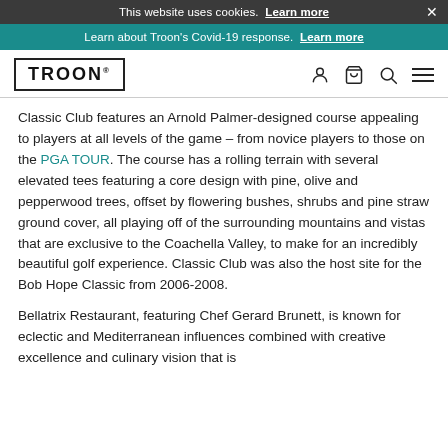This website uses cookies. Learn more
Learn about Troon's Covid-19 response. Learn more
TROON
Classic Club features an Arnold Palmer-designed course appealing to players at all levels of the game – from novice players to those on the PGA TOUR. The course has a rolling terrain with several elevated tees featuring a core design with pine, olive and pepperwood trees, offset by flowering bushes, shrubs and pine straw ground cover, all playing off of the surrounding mountains and vistas that are exclusive to the Coachella Valley, to make for an incredibly beautiful golf experience. Classic Club was also the host site for the Bob Hope Classic from 2006-2008.
Bellatrix Restaurant, featuring Chef Gerard Brunett, is known for eclectic and Mediterranean influences combined with creative excellence and culinary vision that is